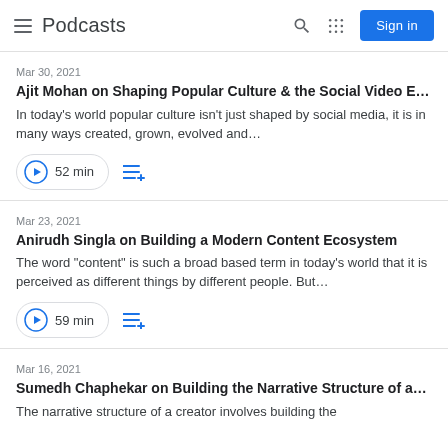Podcasts
Mar 30, 2021
Ajit Mohan on Shaping Popular Culture & the Social Video E…
In today's world popular culture isn't just shaped by social media, it is in many ways created, grown, evolved and…
52 min
Mar 23, 2021
Anirudh Singla on Building a Modern Content Ecosystem
The word "content" is such a broad based term in today's world that it is perceived as different things by different people. But…
59 min
Mar 16, 2021
Sumedh Chaphekar on Building the Narrative Structure of a…
The narrative structure of a creator involves building the